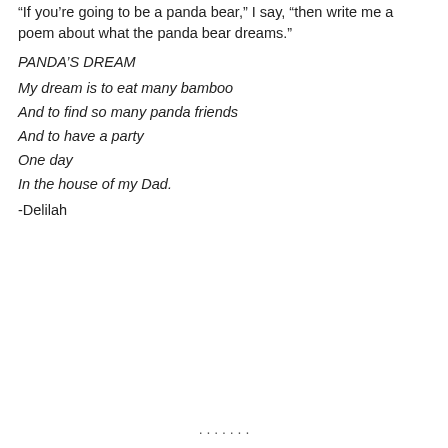“If you’re going to be a panda bear,” I say, “then write me a poem about what the panda bear dreams.”
PANDA’S DREAM
My dream is to eat many bamboo
And to find so many panda friends
And to have a party
One day
In the house of my Dad.
-Delilah
· · · · · · ·